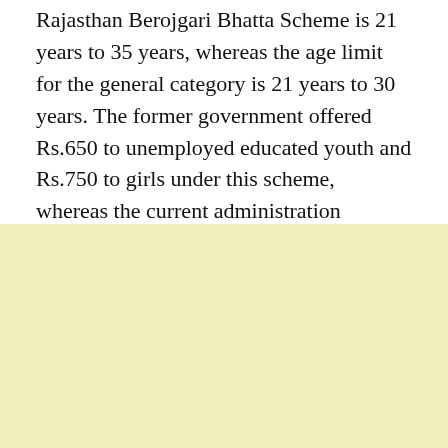Rajasthan Berojgari Bhatta Scheme is 21 years to 35 years, whereas the age limit for the general category is 21 years to 30 years. The former government offered Rs.650 to unemployed educated youth and Rs.750 to girls under this scheme, whereas the current administration provides Rs.3000 to the youth and Rs.3500 to the girls in the form of allowance.
[Figure (other): Light yellow/cream colored blank rectangular area occupying the bottom half of the page.]